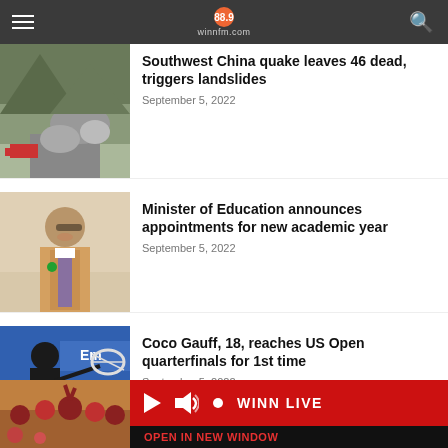winnfm.com
Southwest China quake leaves 46 dead, triggers landslides — September 5, 2022
Minister of Education announces appointments for new academic year — September 5, 2022
Coco Gauff, 18, reaches US Open quarterfinals for 1st time — September 5, 2022
WINN LIVE — OPEN IN NEW WINDOW